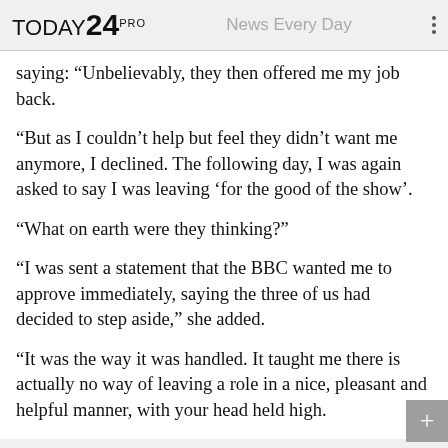TODAY 24 PRO   News Every Day
saying: “Unbelievably, they then offered me my job back.
“But as I couldn’t help but feel they didn’t want me anymore, I declined. The following day, I was again asked to say I was leaving ‘for the good of the show’.
“What on earth were they thinking?”
“I was sent a statement that the BBC wanted me to approve immediately, saying the three of us had decided to step aside,” she added.
“It was the way it was handled. It taught me there is actually no way of leaving a role in a nice, pleasant and helpful manner, with your head held high.
Read More on The Sun
[Figure (photo): Partially visible image strip at the bottom of the article]